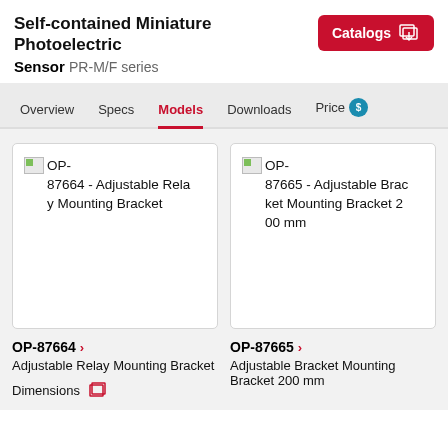Self-contained Miniature Photoelectric Sensor  PR-M/F series
[Figure (other): Catalogs download button (red button with icon)]
Overview  Specs  Models  Downloads  Price
[Figure (other): Product card: broken image placeholder followed by text: OP-87664 - Adjustable Relay Mounting Bracket]
[Figure (other): Product card: broken image placeholder followed by text: OP-87665 - Adjustable Bracket Mounting Bracket 200 mm]
OP-87664 › Adjustable Relay Mounting Bracket
OP-87665 › Adjustable Bracket Mounting Bracket 200 mm
Dimensions